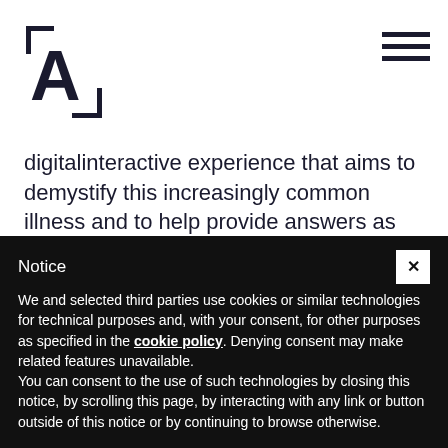Logo / Navigation header
digitalinteractive experience that aims to demystify this increasingly common illness and to help provide answers as well as present the science behind it.
These projects have already attracted international attention within our international industry. We'll keep you all
Notice
We and selected third parties use cookies or similar technologies for technical purposes and, with your consent, for other purposes as specified in the cookie policy. Denying consent may make related features unavailable.
You can consent to the use of such technologies by closing this notice, by scrolling this page, by interacting with any link or button outside of this notice or by continuing to browse otherwise.